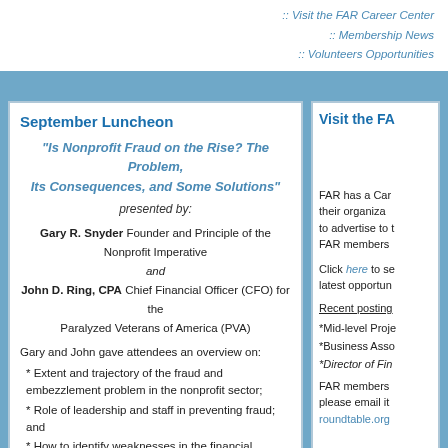:: Visit the FAR Career Center
:: Membership News
:: Volunteers Opportunities
September Luncheon
"Is Nonprofit Fraud on the Rise? The Problem, Its Consequences, and Some Solutions"
presented by:
Gary R. Snyder Founder and Principle of the Nonprofit Imperative and John D. Ring, CPA Chief Financial Officer (CFO) for the Paralyzed Veterans of America (PVA)
Gary and John gave attendees an overview on:
* Extent and trajectory of the fraud and embezzlement problem in the nonprofit sector;
* Role of leadership and staff in preventing fraud; and
* How to identify weaknesses in the financial system that help fraudsters.
[Figure (photo): Photo of a person at the luncheon event]
Visit the FA
FAR has a Career Center where their organizations to advertise to FAR members
Click here to see the latest opportunities
Recent posting
*Mid-level Proje
*Business Asso
*Director of Fin
FAR members please email it roundtable.org